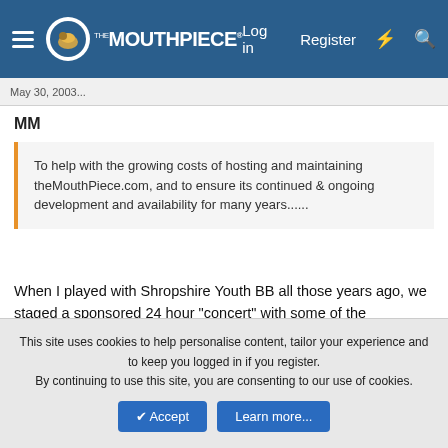The MouthPiece — Log in | Register
May 30, 2003...
MM
To help with the growing costs of hosting and maintaining theMouthPiece.com, and to ensure its continued & ongoing development and availability for many years......
When I played with Shropshire Youth BB all those years ago, we staged a sponsored 24 hour "concert" with some of the orchestras. Each ensemble played in shifts throught the day finishing with a combined band / orchestra finale with something like 8 conductors. I'm sure that with nearly 700 tMP ers we could match if not beat that and have a cracking social event at the same time.
This site uses cookies to help personalise content, tailor your experience and to keep you logged in if you register.
By continuing to use this site, you are consenting to our use of cookies.